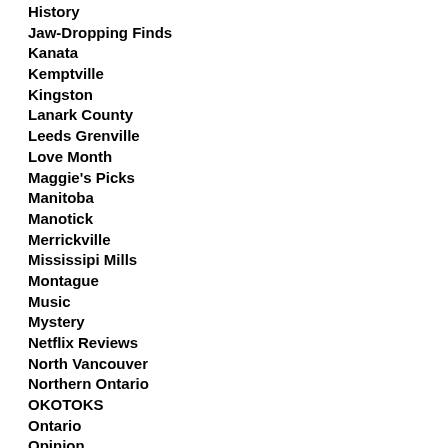History
Jaw-Dropping Finds
Kanata
Kemptville
Kingston
Lanark County
Leeds Grenville
Love Month
Maggie's Picks
Manitoba
Manotick
Merrickville
Mississipi Mills
Montague
Music
Mystery
Netflix Reviews
North Vancouver
Northern Ontario
OKOTOKS
Ontario
Opinion
Orleans